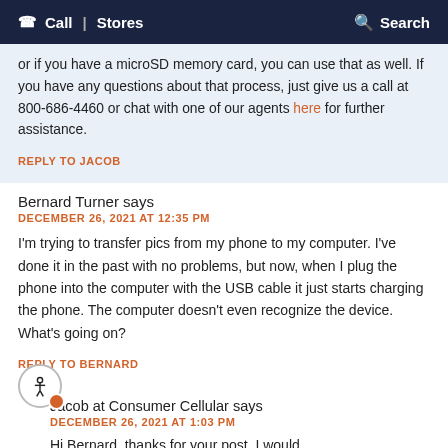Call | Stores   Search
or if you have a microSD memory card, you can use that as well. If you have any questions about that process, just give us a call at 800-686-4460 or chat with one of our agents here for further assistance.
REPLY TO JACOB
Bernard Turner says
DECEMBER 26, 2021 AT 12:35 PM
I'm trying to transfer pics from my phone to my computer. I've done it in the past with no problems, but now, when I plug the phone into the computer with the USB cable it just starts charging the phone. The computer doesn't even recognize the device. What's going on?
REPLY TO BERNARD
Jacob at Consumer Cellular says
DECEMBER 26, 2021 AT 1:03 PM
Hi Bernard, thanks for your post. I would